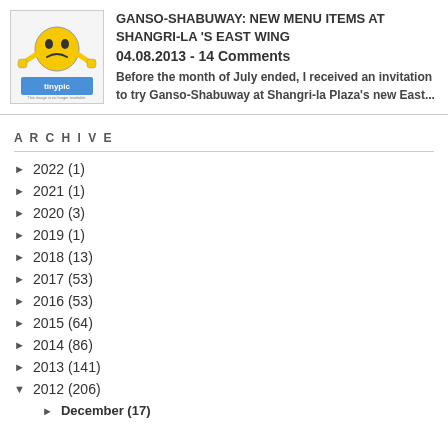[Figure (illustration): Thumbnail image placeholder showing a yellow sad-face emoji character with arms, labeled 'tinypic' at the bottom, with text 'This image is no longer available. Visit tinypic.com for more information.']
GANSO-SHABUWAY: NEW MENU ITEMS AT SHANGRI-LA'S EAST WING
04.08.2013 - 14 Comments
Before the month of July ended, I received an invitation to try Ganso-Shabuway at Shangri-la Plaza's new East...
ARCHIVE
► 2022 (1)
► 2021 (1)
► 2020 (3)
► 2019 (1)
► 2018 (13)
► 2017 (53)
► 2016 (53)
► 2015 (64)
► 2014 (86)
► 2013 (141)
▼ 2012 (206)
► December (17)